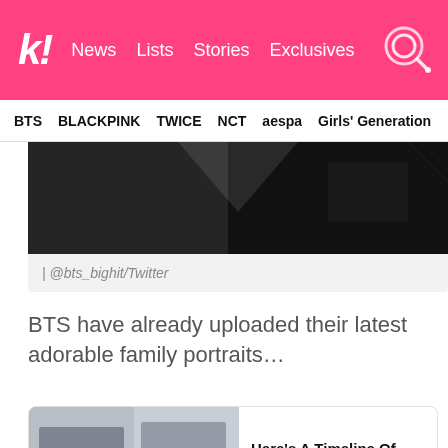k! News  Lists  Stories  Exclusives
BTS  BLACKPINK  TWICE  NCT  aespa  Girls' Generation
[Figure (photo): Dark geometric background image, likely BTS related]
| @bts_bighit/Twitter
BTS have already uploaded their latest adorable family portraits…
[Figure (photo): Article card thumbnail showing BTS group photos labeled THEN and NOW]
Here's A Timeline Of BTS's FESTA Family Portrait Photos From The Past 9 Years
And have most recently made fans emotional by